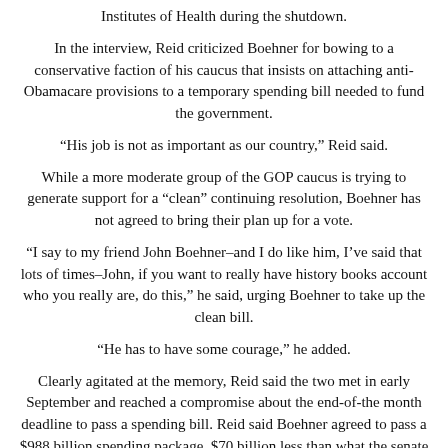Institutes of Health during the shutdown.
In the interview, Reid criticized Boehner for bowing to a conservative faction of his caucus that insists on attaching anti-Obamacare provisions to a temporary spending bill needed to fund the government.
“His job is not as important as our country,” Reid said.
While a more moderate group of the GOP caucus is trying to generate support for a “clean” continuing resolution, Boehner has not agreed to bring their plan up for a vote.
“I say to my friend John Boehner–and I do like him, I’ve said that lots of times–John, if you want to really have history books account who you really are, do this,” he said, urging Boehner to take up the clean bill.
“He has to have some courage,” he added.
Clearly agitated at the memory, Reid said the two met in early September and reached a compromise about the end-of-the month deadline to pass a spending bill. Reid said Boehner agreed to pass a $988 billion spending package, $70 billion less than what the senate leader wanted.